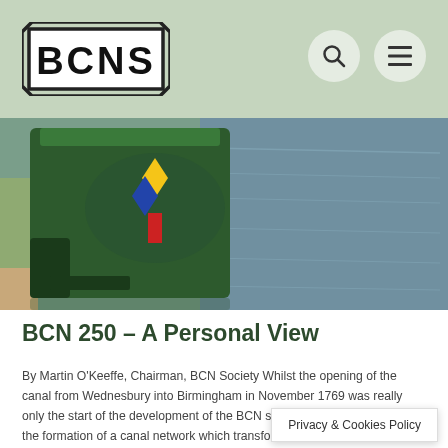BCNS
[Figure (photo): Aerial view of a narrowboat (green with colourful diamond flags) on a canal with a towpath on the left and open water to the right]
BCN 250 – A Personal View
By Martin O'Keeffe, Chairman, BCN Society Whilst the opening of the canal from Wednesbury into Birmingham in November 1769 was really only the start of the development of the BCN system. However this led to the formation of a canal network which transformed the area and resulted in Birmingham becoming a great manufacturing centre. T…s
Privacy & Cookies Policy